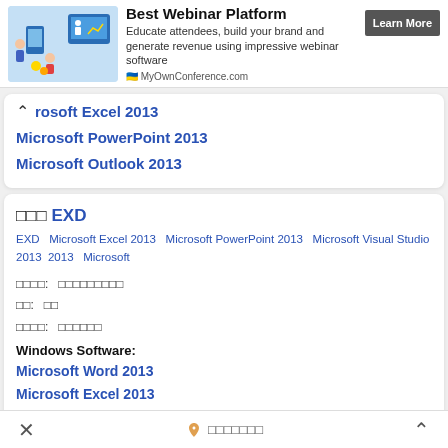[Figure (screenshot): Advertisement banner for MyOwnConference.com webinar platform with illustration of people on devices]
Best Webinar Platform
Educate attendees, build your brand and generate revenue using impressive webinar software
Learn More
MyOwnConference.com
Microsoft Excel 2013
Microsoft PowerPoint 2013
Microsoft Outlook 2013
□□□ EXD
EXD  Microsoft Excel 2013  Microsoft PowerPoint 2013  Microsoft Visual Studio 2013  2013  Microsoft
□□□□:  □□□□□□□□□
□□:  □□
□□□□:  □□□□□□
Windows Software:
Microsoft Word 2013
Microsoft Excel 2013
Microsoft PowerPoint 2013
× □□□□□□□ ^